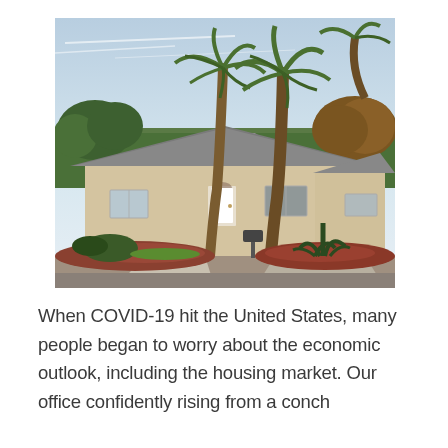[Figure (photo): Exterior photo of a single-story residential home with beige/cream siding, a central white front door with a small arched window above, a peaked roof with grey shingles, and two tall palm trees in the front yard. Landscaping includes colorful red mulch, low shrubs, and agave plants. A concrete driveway/sidewalk is visible in the foreground.]
When COVID-19 hit the United States, many people began to worry about the economic outlook, including the housing market. Our office confidently rising from a conch